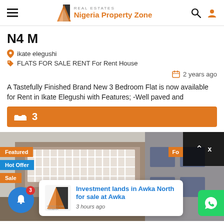[Figure (screenshot): Nigeria Property Zone real estate website header with hamburger menu, logo, search and user icons]
N4 M
ikate elegushi
FLATS FOR SALE RENT For Rent House
2 years ago
A Tastefully Finished Brand New 3 Bedroom Flat is now available for Rent in Ikate Elegushi with Features; -Well paved and
3
[Figure (photo): Photo of apartment building exterior with Featured, Hot Offer, Sale badges, a partial Fo badge, dark corner panel with up arrow and X, notification bell with badge 3, notification popup card showing Investment lands in Awka North for sale at Awka 3 hours ago, and WhatsApp button]